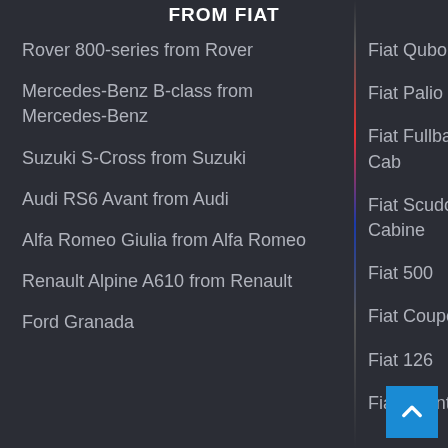FROM FIAT
Rover 800-series from Rover
Mercedes-Benz B-class from Mercedes-Benz
Suzuki S-Cross from Suzuki
Audi RS6 Avant from Audi
Alfa Romeo Giulia from Alfa Romeo
Renault Alpine A610 from Renault
Ford Granada
Fiat Qubo
Fiat Palio Weekend
Fiat Fullback Double Cab
Fiat Scudo Dubbele Cabine
Fiat 500
Fiat Coupe
Fiat 126
Fiat Talento Combi